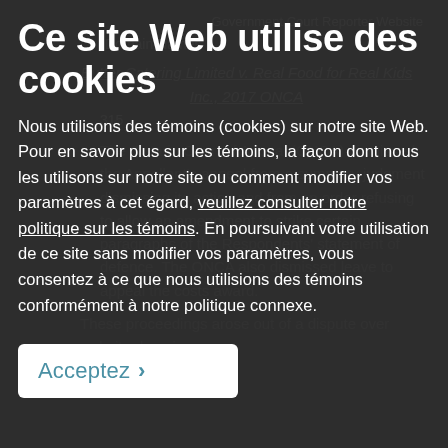Ce site Web utilise des cookies
Nous utilisons des témoins (cookies) sur notre site Web. Pour en savoir plus sur les témoins, la façon dont nous les utilisons sur notre site ou comment modifier vos paramètres à cet égard, veuillez consulter notre politique sur les témoins. En poursuivant votre utilisation de ce site sans modifier vos paramètres, vous consentez à ce que nous utilisions des témoins conformément à notre politique connexe.
Acceptez >
Government Court Reporter Website Domain Names
Butter Catering Limited v. Real Food for Real Kids Inc., 2017 ONCA 315
The Ontario Court of Appeal (ONCA) dismissed the Appellant's appeal from a summary judgment dismissing its action and from an order refusing to allow an amendment to strike certain paragraphs of the Respondents' statement of defence. The ONCA also dismissed leave to appeal the costs award.
These proceedings arose out of a dispute over website domain names